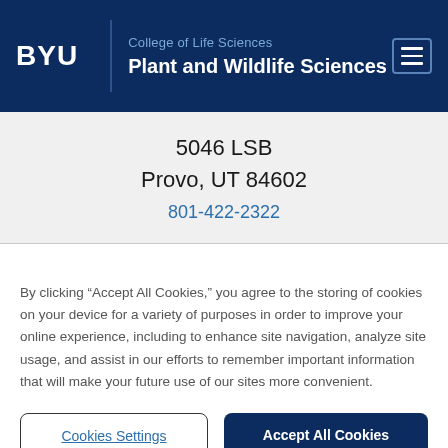BYU | College of Life Sciences | Plant and Wildlife Sciences
5046 LSB
Provo, UT 84602
801-422-2322
By clicking “Accept All Cookies,” you agree to the storing of cookies on your device for a variety of purposes in order to improve your online experience, including to enhance site navigation, analyze site usage, and assist in our efforts to remember important information that will make your future use of our sites more convenient.
Cookies Settings | Accept All Cookies